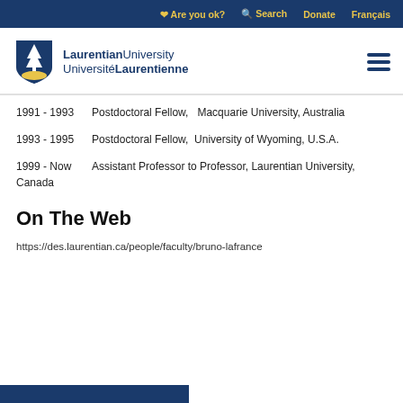Are you ok?  Search  Donate  Français
[Figure (logo): Laurentian University / Université Laurentienne shield logo with navigation hamburger menu]
1991 - 1993     Postdoctoral Fellow,   Macquarie University, Australia
1993 - 1995     Postdoctoral Fellow,  University of Wyoming, U.S.A.
1999 - Now       Assistant Professor to Professor, Laurentian University, Canada
On The Web
https://des.laurentian.ca/people/faculty/bruno-lafrance